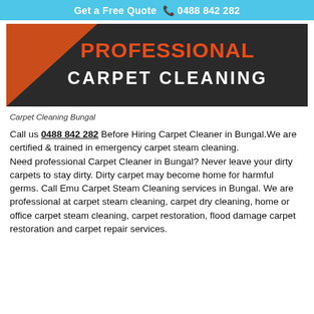Get a Free Quote  📞 0488 842 282
[Figure (illustration): Dark background banner with orange triangle on the left and text reading PROFESSIONAL CARPET CLEANING in red and white bold lettering]
Carpet Cleaning Bungal
Call us 0488 842 282 Before Hiring Carpet Cleaner in Bungal.We are certified & trained in emergency carpet steam cleaning.
Need professional Carpet Cleaner in Bungal? Never leave your dirty carpets to stay dirty. Dirty carpet may become home for harmful germs. Call Emu Carpet Steam Cleaning services in Bungal. We are professional at carpet steam cleaning, carpet dry cleaning, home or office carpet steam cleaning, carpet restoration, flood damage carpet restoration and carpet repair services.